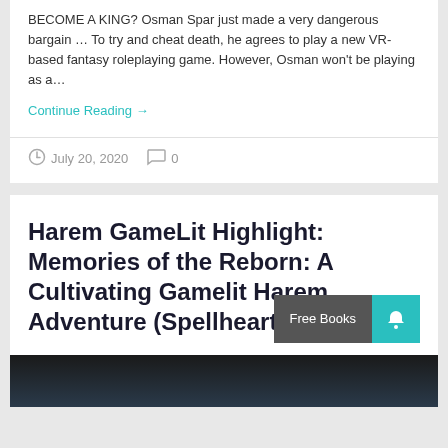BECOME A KING? Osman Spar just made a very dangerous bargain … To try and cheat death, he agrees to play a new VR-based fantasy roleplaying game. However, Osman won't be playing as a…
Continue Reading →
July 20, 2020   0
Harem GameLit Highlight: Memories of the Reborn: A Cultivating Gamelit Harem Adventure (Spellheart Book 3)
[Figure (other): Dark image strip at bottom, partial book cover or promotional image]